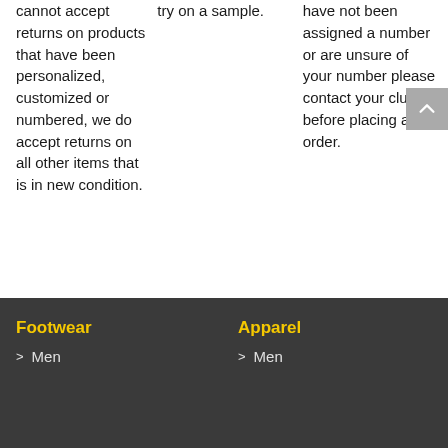cannot accept returns on products that have been personalized, customized or numbered, we do accept returns on all other items that is in new condition.
try on a sample.
have not been assigned a number or are unsure of your number please contact your club before placing an order.
Footwear
> Men
Apparel
> Men